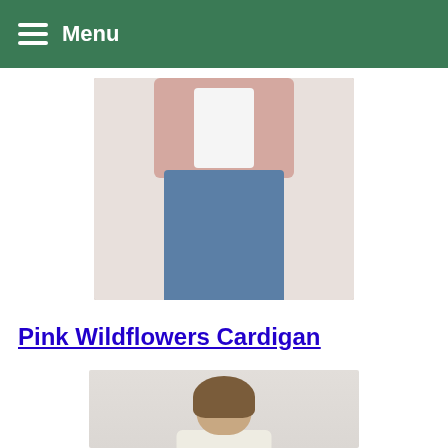Menu
[Figure (photo): Person wearing a pink cardigan over a white top and blue jeans, cropped at torso level, light background]
Pink Wildflowers Cardigan
This free knitting pattern uses super bulky-weight yarn. Pattern attributes and techniques include: Bottom-Up, Cropped, Seamed, Zipper.
[Figure (photo): Woman with long brown hair smiling, wearing a cream colored sweater with floral pattern, light grey background, visible from shoulders up]